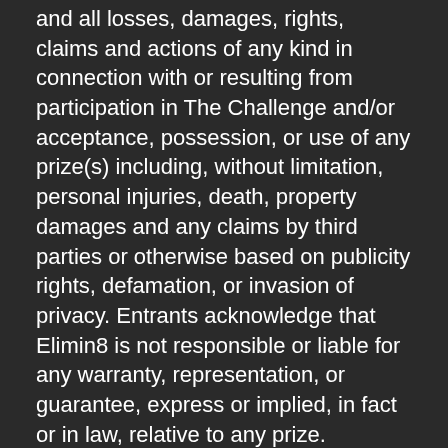and all losses, damages, rights, claims and actions of any kind in connection with or resulting from participation in The Challenge and/or acceptance, possession, or use of any prize(s) including, without limitation, personal injuries, death, property damages and any claims by third parties or otherwise based on publicity rights, defamation, or invasion of privacy. Entrants acknowledge that Elimin8 is not responsible or liable for any warranty, representation, or guarantee, express or implied, in fact or in law, relative to any prize.
Disclaimer of Warranties:
IN NO EVENT WILL Elimin8, AND/OR ITS PARENTS, AFFILIATES, SUBSIDIARIES AND RELATED COMPANIES, OR THEIR RESPECTIVE OFFICERS, DIRECTORS, EMPLOYEES, REPRESENTATIVES AND